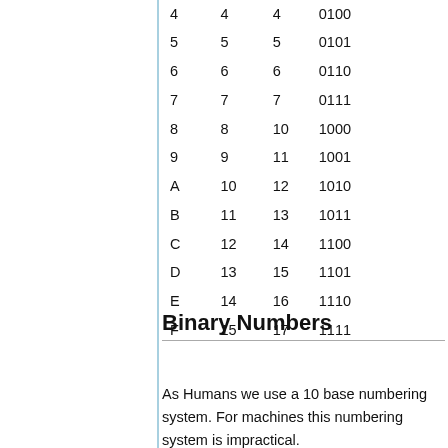| Hex | Decimal | Octal | Binary |
| --- | --- | --- | --- |
| 4 | 4 | 4 | 0100 |
| 5 | 5 | 5 | 0101 |
| 6 | 6 | 6 | 0110 |
| 7 | 7 | 7 | 0111 |
| 8 | 8 | 10 | 1000 |
| 9 | 9 | 11 | 1001 |
| A | 10 | 12 | 1010 |
| B | 11 | 13 | 1011 |
| C | 12 | 14 | 1100 |
| D | 13 | 15 | 1101 |
| E | 14 | 16 | 1110 |
| F | 15 | 17 | 1111 |
Binary Numbers
As Humans we use a 10 base numbering system. For machines this numbering system is impractical.
Gottfried Willheml von Leibnitz devised